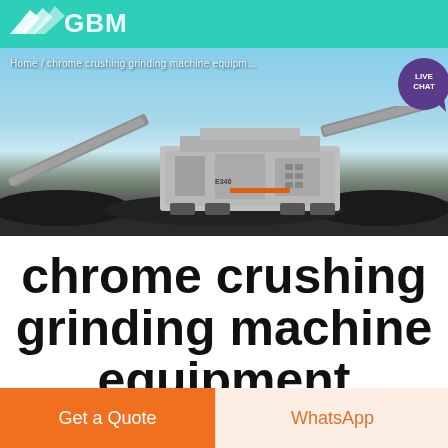GBM logo header
[Figure (photo): Hero banner showing a large industrial chrome crushing and grinding machine on a job site, with breadcrumb navigation 'Home / chrome crushing grinding machine equipment' and a Live Chat button overlay]
chrome crushing grinding machine equipment
Get a Quote
WhatsApp